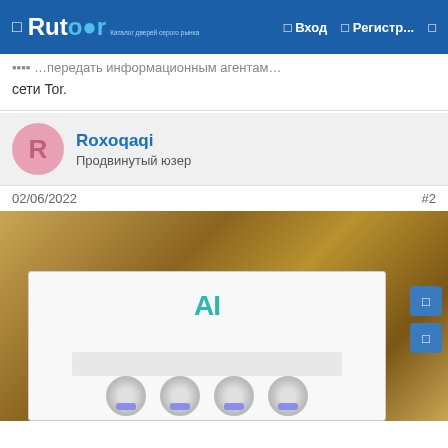Rutor — Вход — Регистр...
сети Tor.
Roxoqaqi
Продвинутый юзер
02/06/2022	#2
[Figure (photo): Photo of a white AI-branded LED aquarium light fixture in its box, placed on a brown stone/tile surface. Three circular LED modules visible at the bottom glowing purple/blue. Teal AI logo on the front panel. Side navigation buttons visible on right.]